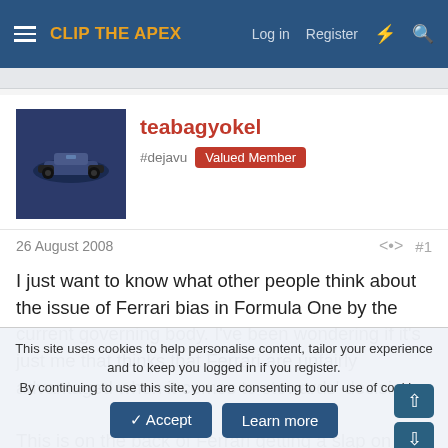CLIP THE APEX — Log in  Register
teabagyokel
#dejavu  Valued Member
26 August 2008  #1
I just want to know what other people think about the issue of Ferrari bias in Formula One by the current governing body. I've been wondering if it's just me that thinks that Ferrari are unfairly advantaged when it comes to stewards' decisions.

This is on the back of Ferrari getting a slap on the wrist for nearly throwing Adrian Sutil into the wall at the European Grand Prix...
This site uses cookies to help personalise content, tailor your experience and to keep you logged in if you register.
By continuing to use this site, you are consenting to our use of cookies.
Accept  Learn more